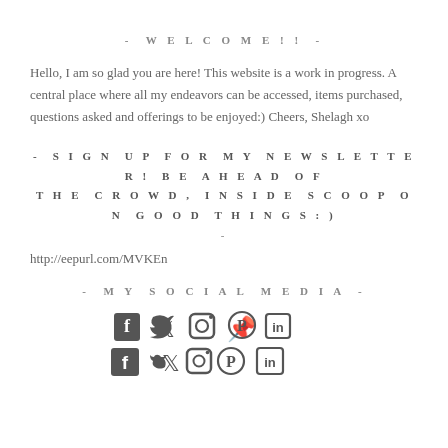- WELCOME!! -
Hello, I am so glad you are here! This website is a work in progress. A central place where all my endeavors can be accessed, items purchased, questions asked and offerings to be enjoyed:) Cheers, Shelagh xo
- SIGN UP FOR MY NEWSLETTER! BE AHEAD OF THE CROWD, INSIDE SCOOP ON GOOD THINGS:) -
http://eepurl.com/MVKEn
- MY SOCIAL MEDIA -
[Figure (infographic): Row of social media icons: Facebook, Twitter, Instagram, Pinterest, LinkedIn]